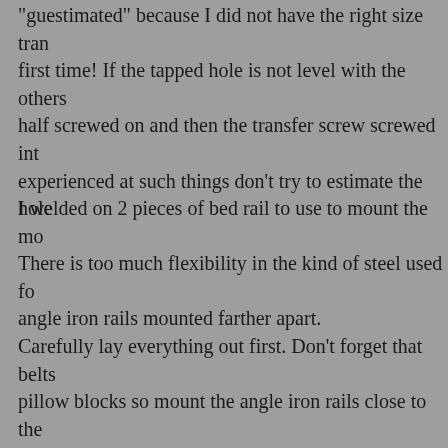"guestimated" because I did not have the right size tran... first time! If the tapped hole is not level with the others... half screwed on and then the transfer screw screwed int... experienced at such things don't try to estimate the hole...
I welded on 2 pieces of bed rail to use to mount the mo... There is too much flexibility in the kind of steel used fo... angle iron rails mounted farther apart. Carefully lay everything out first. Don't forget that belts... pillow blocks so mount the angle iron rails close to the... will cause belt slippage when the motor brings the heav... accelerating a 40 lb chuck from a dead stop is going to... mounts.
The notch on the bottom right of the plate is there for clearance for the clamp bolts on the vertical slide.
Here the plate is shown bolted to the side of the block.